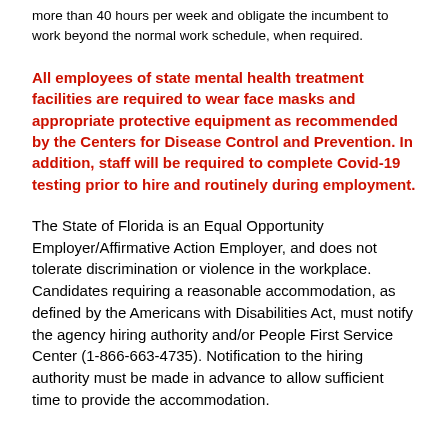more than 40 hours per week and obligate the incumbent to work beyond the normal work schedule, when required.
All employees of state mental health treatment facilities are required to wear face masks and appropriate protective equipment as recommended by the Centers for Disease Control and Prevention. In addition, staff will be required to complete Covid-19 testing prior to hire and routinely during employment.
The State of Florida is an Equal Opportunity Employer/Affirmative Action Employer, and does not tolerate discrimination or violence in the workplace. Candidates requiring a reasonable accommodation, as defined by the Americans with Disabilities Act, must notify the agency hiring authority and/or People First Service Center (1-866-663-4735). Notification to the hiring authority must be made in advance to allow sufficient time to provide the accommodation.